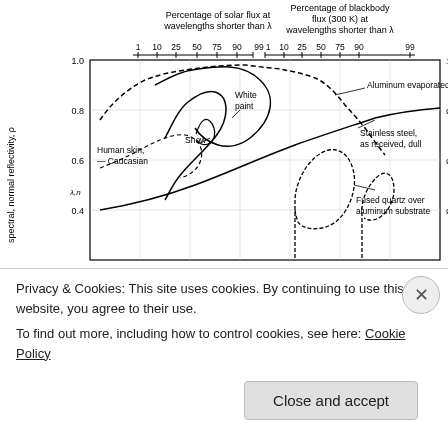[Figure (continuous-plot): A graph showing spectral normal reflectivity (y-axis, 0 to 1.0) vs wavelength for various materials including Aluminum evaporated film (dashed), White paint, Snow, Human skin Caucasian, Stainless steel as received dull, and Fused quartz over aluminum substrate. The top x-axis shows two scales: Percentage of solar flux at wavelengths shorter than lambda, and Percentage of blackbody flux (300 K) at wavelengths shorter than lambda.]
Privacy & Cookies: This site uses cookies. By continuing to use this website, you agree to their use.
To find out more, including how to control cookies, see here: Cookie Policy
Close and accept